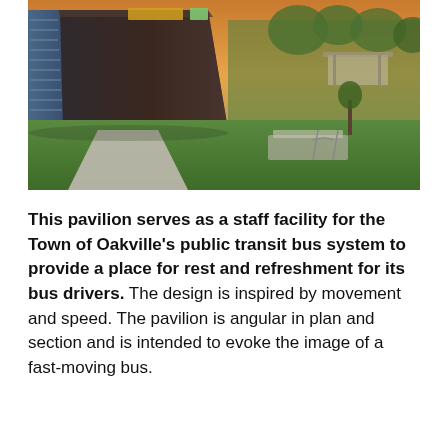[Figure (photo): Exterior photograph of a modern angular transit pavilion building at dusk, with a concrete walkway, green lawn, trees, and a bike rack visible. The building has dark metal cladding and colorful glazing accents.]
This pavilion serves as a staff facility for the Town of Oakville's public transit bus system to provide a place for rest and refreshment for its bus drivers. The design is inspired by movement and speed. The pavilion is angular in plan and section and is intended to evoke the image of a fast-moving bus.